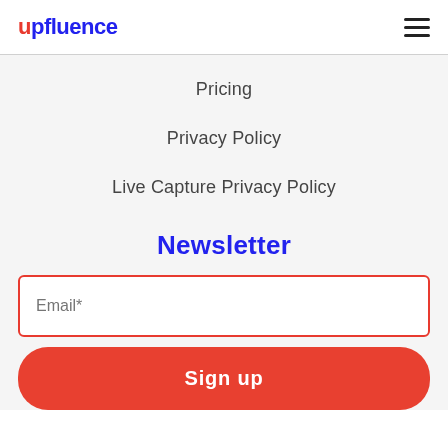upfluence
Pricing
Privacy Policy
Live Capture Privacy Policy
Newsletter
Email*
Sign up